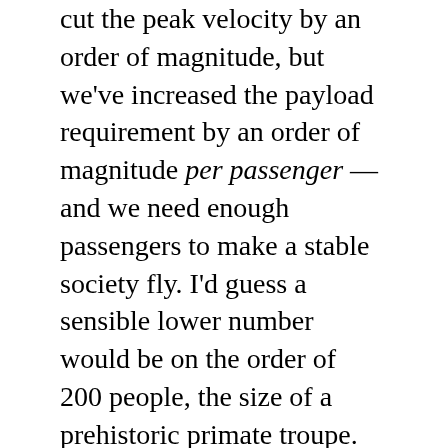cut the peak velocity by an order of magnitude, but we've increased the payload requirement by an order of magnitude per passenger — and we need enough passengers to make a stable society fly. I'd guess a sensible lower number would be on the order of 200 people, the size of a prehistoric primate troupe. (Genetic diversity? I'm going to assume we can hand-wave around that by packing some deep-frozen sperm and ova, or frozen embryos, for later reuse.) By the time we work up to a minimal